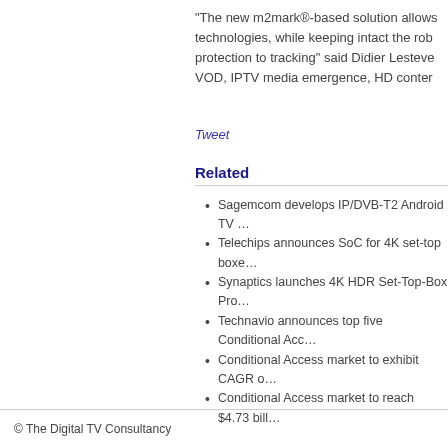“The new m2mark®-based solution allows technologies, while keeping intact the rob protection to tracking” said Didier Lesteve VOD, IPTV media emergence, HD conter
Tweet
Related
Sagemcom develops IP/DVB-T2 Android TV…
Telechips announces SoC for 4K set-top boxe…
Synaptics launches 4K HDR Set-Top-Box Pro…
Technavio announces top five Conditional Acc…
Conditional Access market to exhibit CAGR o…
Conditional Access market to reach $4.73 bill…
© The Digital TV Consultancy